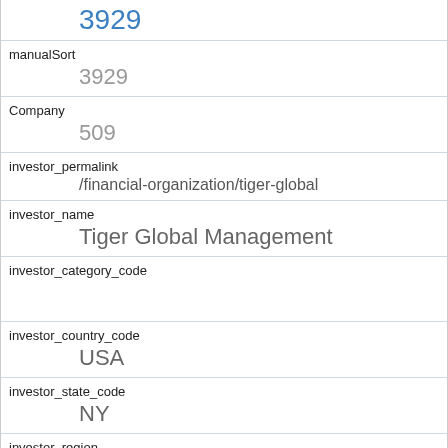3929
manualSort
3929
Company
509
investor_permalink
/financial-organization/tiger-global
investor_name
Tiger Global Management
investor_category_code
investor_country_code
USA
investor_state_code
NY
investor_region
New York
investor_city
New York
funding_round_type
series-b